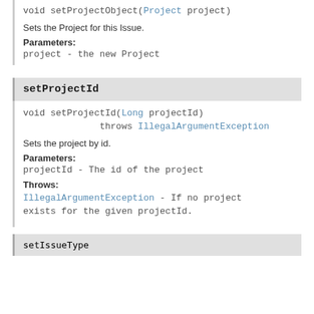void setProjectObject(Project project)
Sets the Project for this Issue.
Parameters:
project - the new Project
setProjectId
void setProjectId(Long projectId)
        throws IllegalArgumentException
Sets the project by id.
Parameters:
projectId - The id of the project
Throws:
IllegalArgumentException - If no project exists for the given projectId.
setIssueType